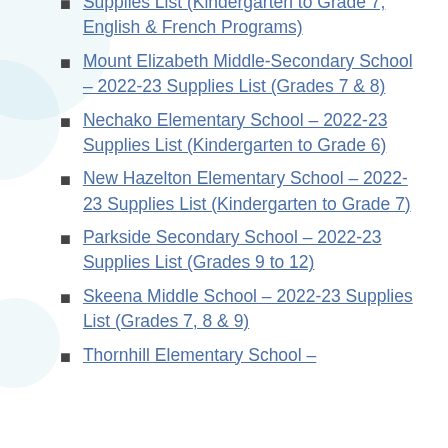Supplies List (Kindergarten to Grade 7, English & French Programs)
Mount Elizabeth Middle-Secondary School – 2022-23 Supplies List (Grades 7 & 8)
Nechako Elementary School – 2022-23 Supplies List (Kindergarten to Grade 6)
New Hazelton Elementary School – 2022-23 Supplies List (Kindergarten to Grade 7)
Parkside Secondary School – 2022-23 Supplies List (Grades 9 to 12)
Skeena Middle School – 2022-23 Supplies List (Grades 7, 8 & 9)
Thornhill Elementary School –